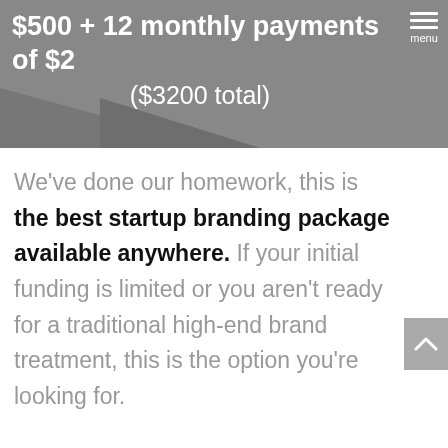$500 + 12 monthly payments of $2 ($3200 total)
We've done our homework, this is the best startup branding package available anywhere. If your initial funding is limited or you aren't ready for a traditional high-end brand treatment, this is the option you're looking for.